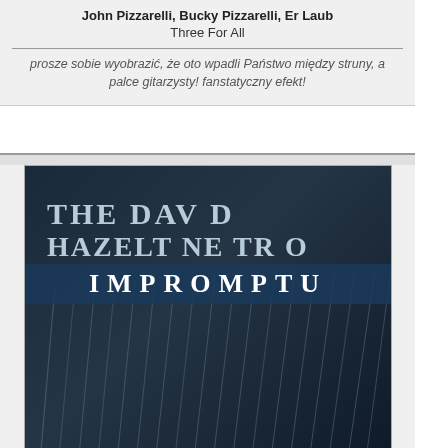John Pizzarelli, Bucky Pizzarelli, Er Laub
Three For All
prosze sobie wyobrazić, że oto wpadli Państwo między struny, a palce gitarzysty! fanstatyczny efekt!
[Figure (photo): Album cover for 'Impromptu' by The David Hazeltine Trio - dark blue/teal cover with piano strings visible, text reads THE DAVID HAZELTINE TRIO IMPROMPTU]
David Hazeltine, George Mraz, Jason Brown
Impromptu
[Figure (photo): Album cover for Candido - white top with bold CANDIDO text, orange/brown background below showing a smiling man with raised hands]